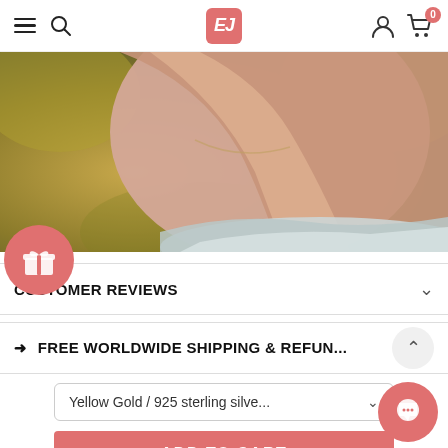EJ store navigation bar with hamburger menu, search, logo, user, and cart icons
[Figure (photo): Close-up photo of a person's neck/wrist area wearing a jewelry item, with blurred warm background]
[Figure (illustration): Pink circular gift/reward button icon]
CUSTOMER REVIEWS
➜ FREE WORLDWIDE SHIPPING & REFUN...
Yellow Gold / 925 sterling silve...
ADD TO CART
[Figure (illustration): Pink circular chat/messenger button]